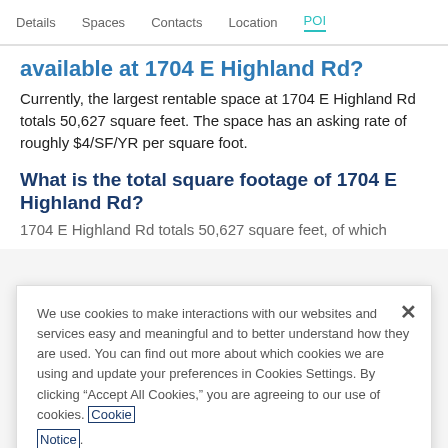Details  Spaces  Contacts  Location  POI
available at 1704 E Highland Rd?
Currently, the largest rentable space at 1704 E Highland Rd totals 50,627 square feet. The space has an asking rate of roughly $4/SF/YR per square foot.
What is the total square footage of 1704 E Highland Rd?
1704 E Highland Rd totals 50,627 square feet, of which
We use cookies to make interactions with our websites and services easy and meaningful and to better understand how they are used. You can find out more about which cookies we are using and update your preferences in Cookies Settings. By clicking “Accept All Cookies,” you are agreeing to our use of cookies. Cookie Notice.
Cookies Settings
Accept All Cookies